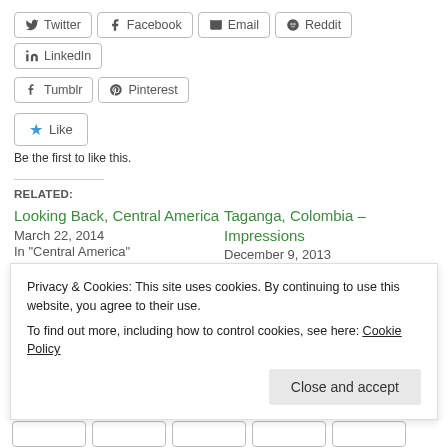Twitter
Facebook
Email
Reddit
LinkedIn
Tumblr
Pinterest
Like
Be the first to like this.
RELATED:
Looking Back, Central America
March 22, 2014
In "Central America"
Taganga, Colombia – Impressions
December 9, 2013
In "Destination"
Bocas del Toro, Panama –
Privacy & Cookies: This site uses cookies. By continuing to use this website, you agree to their use.
To find out more, including how to control cookies, see here: Cookie Policy
Close and accept